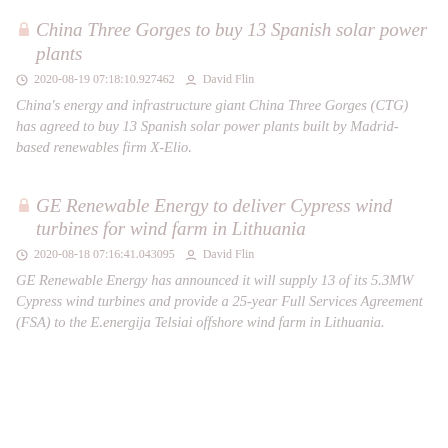China Three Gorges to buy 13 Spanish solar power plants
2020-08-19 07:18:10.927462   David Flin
China's energy and infrastructure giant China Three Gorges (CTG) has agreed to buy 13 Spanish solar power plants built by Madrid-based renewables firm X-Elio.
GE Renewable Energy to deliver Cypress wind turbines for wind farm in Lithuania
2020-08-18 07:16:41.043095   David Flin
GE Renewable Energy has announced it will supply 13 of its 5.3MW Cypress wind turbines and provide a 25-year Full Services Agreement (FSA) to the E.energija Telsiai offshore wind farm in Lithuania.